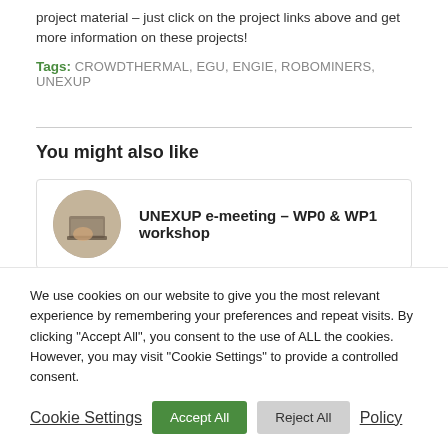project material – just click on the project links above and get more information on these projects!
Tags: CROWDTHERMAL, EGU, ENGIE, ROBOMINERS, UNEXUP
You might also like
UNEXUP e-meeting – WP0 & WP1 workshop
We use cookies on our website to give you the most relevant experience by remembering your preferences and repeat visits. By clicking "Accept All", you consent to the use of ALL the cookies. However, you may visit "Cookie Settings" to provide a controlled consent.